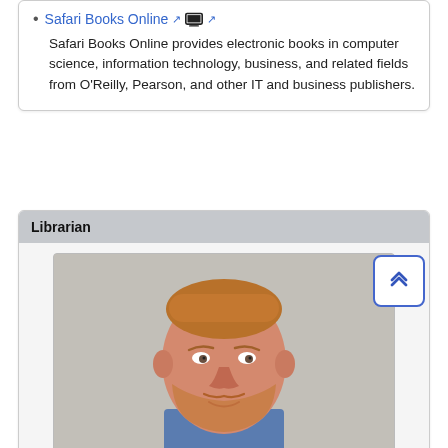Safari Books Online — Safari Books Online provides electronic books in computer science, information technology, business, and related fields from O'Reilly, Pearson, and other IT and business publishers.
Librarian
[Figure (photo): Headshot photo of a man with short reddish hair and a beard, wearing a blue shirt, against a neutral gray/beige background.]